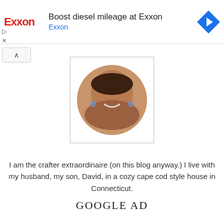[Figure (screenshot): Exxon advertisement banner: Exxon logo in red, text 'Boost diesel mileage at Exxon' and 'Exxon' in blue, blue diamond arrow icon on right, play and close icons on the left side]
[Figure (photo): Profile photo of a smiling woman with earrings, displayed inside a circular crop with a decorative stamp-style perforated white border]
I am the crafter extraordinaire (on this blog anyway.) I live with my husband, my son, David, in a cozy cape cod style house in Connecticut.
GOOGLE AD